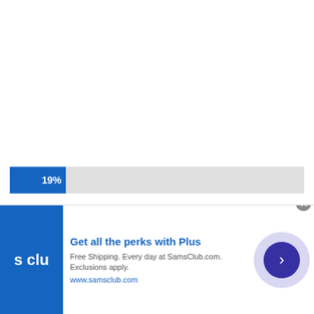[Figure (bar-chart): Partial bar chart]
Once a year or more
Once a month or more
[Figure (infographic): Advertisement overlay: Sam's Club 'Get all the perks with Plus'. Free Shipping. Every day at SamsClub.com. Exclusions apply. www.samsclub.com]